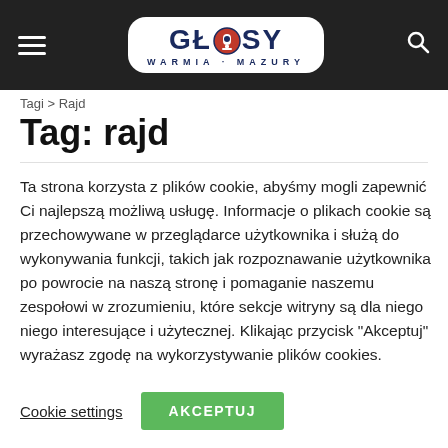[Figure (logo): Głosy Warmia-Mazury website logo with hamburger menu and search icon on dark header bar]
Tagi > Rajd
Tag: rajd
Ta strona korzysta z plików cookie, abyśmy mogli zapewnić Ci najlepszą możliwą usługę. Informacje o plikach cookie są przechowywane w przeglądarce użytkownika i służą do wykonywania funkcji, takich jak rozpoznawanie użytkownika po powrocie na naszą stronę i pomaganie naszemu zespołowi w zrozumieniu, które sekcje witryny są dla niego niego interesujące i użytecznej. Klikając przycisk "Akceptuj" wyrażasz zgodę na wykorzystywanie plików cookies.
Cookie settings | AKCEPTUJ